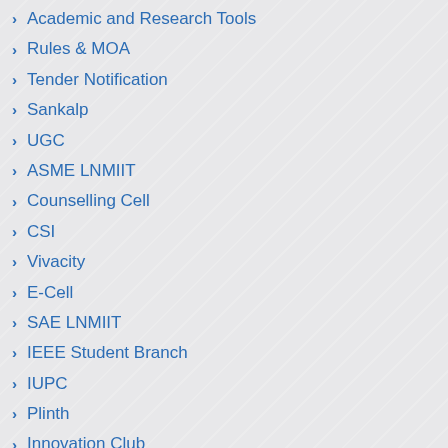Academic and Research Tools
Rules & MOA
Tender Notification
Sankalp
UGC
ASME LNMIIT
Counselling Cell
CSI
Vivacity
E-Cell
SAE LNMIIT
IEEE Student Branch
IUPC
Plinth
Innovation Club
Desportivos